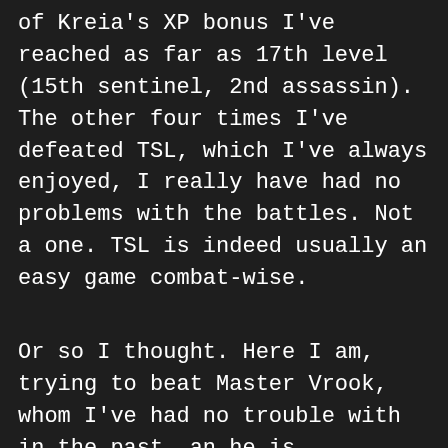of Kreia's XP bonus I've reached as far as 17th level (15th sentinel, 2nd assassin). The other four times I've defeated TSL, which I've always enjoyed, I really have had no problems with the battles. Not a one. TSL is indeed usually an easy game combat-wise.
Or so I thought. Here I am, trying to beat Master Vrook, whom I've had no trouble with in the past, an he is absolutely insane all of the sudden. All attempts to hinder him via, for example, Plague, proove pointless, he heals them of in no time. I can barely hit him; on five attacks (two weapons, flurry, master speed) 0 attacks usually hits; 1 if I'm lucky! He, however, has no problem striking me down. He does this with two attacks,